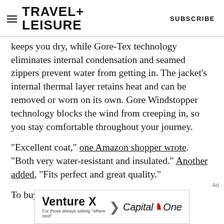TRAVEL+ LEISURE   SUBSCRIBE
keeps you dry, while Gore-Tex technology eliminates internal condensation and seamed zippers prevent water from getting in. The jacket's internal thermal layer retains heat and can be removed or worn on its own. Gore Windstopper technology blocks the wind from creeping in, so you stay comfortable throughout your journey.
"Excellent coat," one Amazon shopper wrote. "Both very water-resistant and insulated." Another added, "Fits perfect and great quality."
To buy: amazon.com, from $263
[Figure (other): Capital One Venture X advertisement banner with text 'Venture X' and 'For those always asking where next' with Capital One logo]